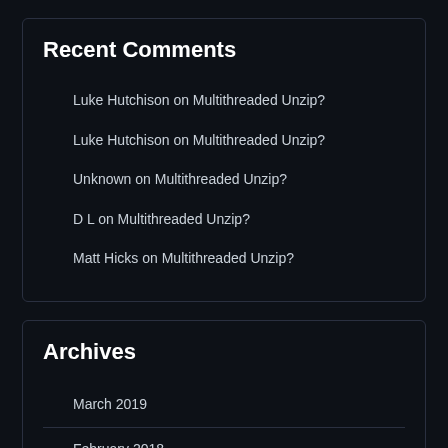Recent Comments
Luke Hutchison on Multithreaded Unzip?
Luke Hutchison on Multithreaded Unzip?
Unknown on Multithreaded Unzip?
D L on Multithreaded Unzip?
Matt Hicks on Multithreaded Unzip?
Archives
March 2019
February 2018